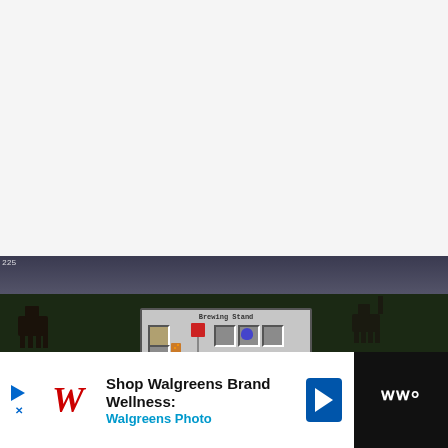[Figure (screenshot): White/light gray blank area at top of page, approximately the upper 57% of the page]
[Figure (screenshot): Minecraft game screenshot showing a dark nighttime scene with green ground, dark sky, several animal mobs visible, a pink/red block in the center distance, and a Brewing Stand GUI open in the center of the screen showing ingredient and bottle slots. FPS counter '225' visible top left.]
[Figure (screenshot): Advertisement bar at the bottom: Walgreens brand ad on white background showing Walgreens italic W logo in red, text 'Shop Walgreens Brand Wellness:' in bold black, 'Walgreens Photo' in cyan, and a blue navigation/map arrow icon. Right side of bar is black with white Waze-style logo.]